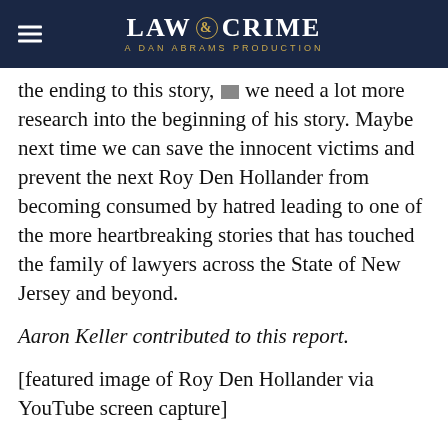LAW & CRIME — A DAN ABRAMS PRODUCTION
the ending to this story, but we need a lot more research into the beginning of his story. Maybe next time we can save the innocent victims and prevent the next Roy Den Hollander from becoming consumed by hatred leading to one of the more heartbreaking stories that has touched the family of lawyers across the State of New Jersey and beyond.
Aaron Keller contributed to this report.
[featured image of Roy Den Hollander via YouTube screen capture]